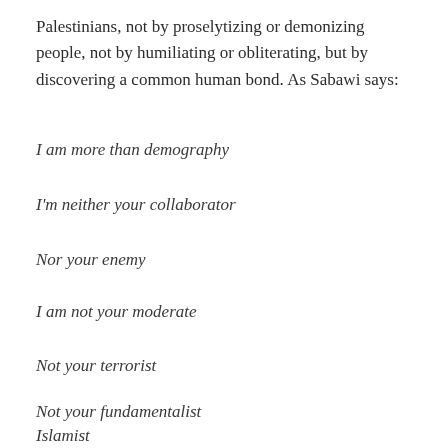Palestinians, not by proselytizing or demonizing people, not by humiliating or obliterating, but by discovering a common human bond. As Sabawi says:
I am more than demography
I'm neither your collaborator
Nor your enemy
I am not your moderate
Not your terrorist
Not your fundamentalist
Islamist